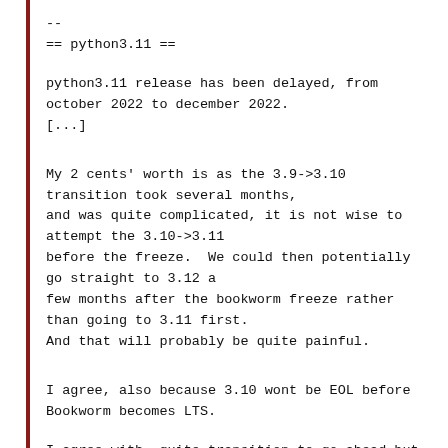--
== python3.11 ==
python3.11 release has been delayed, from
october 2022 to december 2022.
[...]
My 2 cents' worth is as the 3.9->3.10
transition took several months,
and was quite complicated, it is not wise to
attempt the 3.10->3.11
before the freeze.  We could then potentially
go straight to 3.12 a
few months after the bookworm freeze rather
than going to 3.11 first.
And that will probably be quite painful.
I agree, also because 3.10 wont be EOL before
Bookworm becomes LTS.